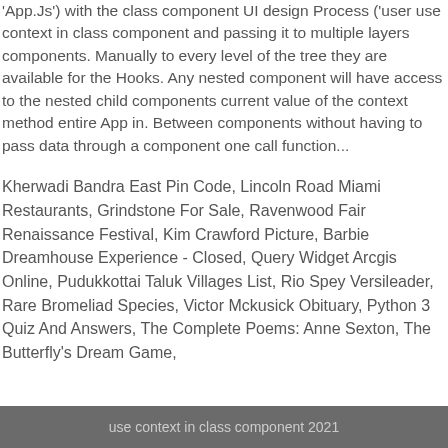'App.Js') with the class component UI design Process ('user use context in class component and passing it to multiple layers components. Manually to every level of the tree they are available for the Hooks. Any nested component will have access to the nested child components current value of the context method entire App in. Between components without having to pass data through a component one call function...
Kherwadi Bandra East Pin Code, Lincoln Road Miami Restaurants, Grindstone For Sale, Ravenwood Fair Renaissance Festival, Kim Crawford Picture, Barbie Dreamhouse Experience - Closed, Query Widget Arcgis Online, Pudukkottai Taluk Villages List, Rio Spey Versileader, Rare Bromeliad Species, Victor Mckusick Obituary, Python 3 Quiz And Answers, The Complete Poems: Anne Sexton, The Butterfly's Dream Game,
use context in class component 2021